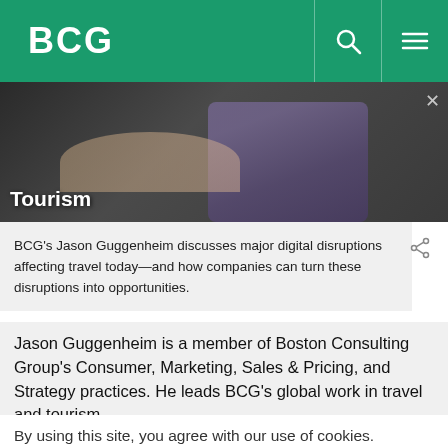BCG
[Figure (screenshot): Video thumbnail showing a person in a plaid shirt with text overlay 'Tourism']
BCG's Jason Guggenheim discusses major digital disruptions affecting travel today—and how companies can turn these disruptions into opportunities.
Jason Guggenheim is a member of Boston Consulting Group's Consumer, Marketing, Sales & Pricing, and Strategy practices. He leads BCG's global work in travel and tourism,
By using this site, you agree with our use of cookies.
I consent to cookies
Want to know more?
Read our Cookie Policy